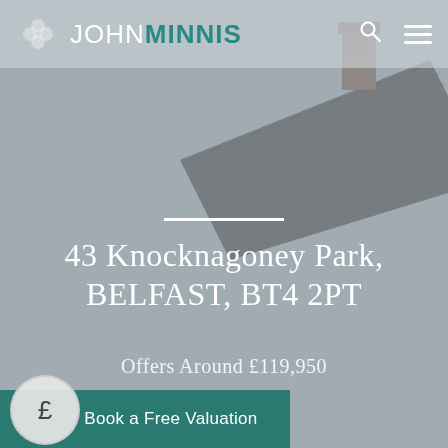JOHN MINNIS
[Figure (photo): Aerial or elevated view of a house rooftop with slanted grey slate roof and a brick chimney, against a light grey sky background.]
43 Knocknagoney Park, BELFAST, BT4 2PT
Offers Around £119,950
Book a Free Valuation